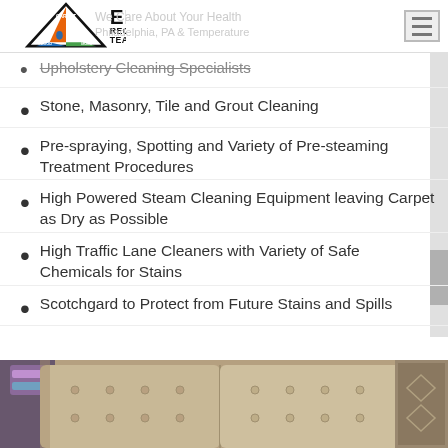[Figure (logo): Elite Carpet Recovery Team logo with triangle containing orange top, blue left, green right sections, with text ELITE RECOVERY TEAM in bold black]
Upholstery Cleaning Specialists
Stone, Masonry, Tile and Grout Cleaning
Pre-spraying, Spotting and Variety of Pre-steaming Treatment Procedures
High Powered Steam Cleaning Equipment leaving Carpet as Dry as Possible
High Traffic Lane Cleaners with Variety of Safe Chemicals for Stains
Scotchgard to Protect from Future Stains and Spills
[Figure (photo): Photo of beige/tan tufted sofa cushions with a patterned fabric visible on the right and a decorative item on the left]